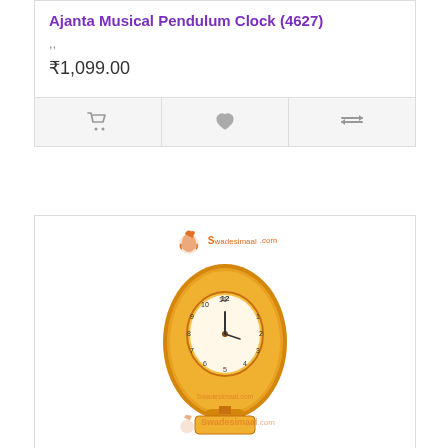Ajanta Musical Pendulum Clock (4627)
,,
₹1,099.00
[Figure (illustration): Three action buttons: shopping cart icon, heart/wishlist icon, and compare/menu icon on a light grey background]
[Figure (photo): Swadesimaal.com watermark logo with elephant icon and an Ajanta Musical Pendulum Clock (5827) - an oval-shaped golden/orange wall clock with pendulum, white clock face showing numbers 1-12]
Ajanta Musical Pendulum Clock (5827)